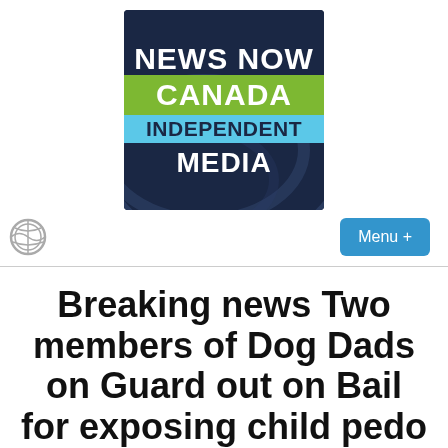[Figure (logo): News Now Canada Independent Media logo — dark navy background with swirl pattern, green bar for CANADA, light blue bar for INDEPENDENT, white text for NEWS NOW and MEDIA]
[Figure (other): Blue rounded rectangle button labeled 'Menu +']
[Figure (logo): WordPress circle logo icon (grey)]
Breaking news Two members of Dog Dads on Guard out on Bail for exposing child pedo...